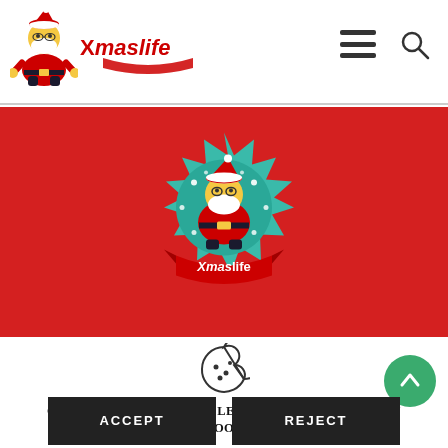Xmas life — navigation header with hamburger menu and search icon
[Figure (illustration): Xmas life website hero section with red background and teal/green star-burst badge logo featuring Santa Claus and 'Xmas life' text in the center]
[Figure (illustration): Cookie icon (circle with bite taken out and dots)]
Our site uses cookies. Learn more about our use of cookies: cookie policy
ACCEPT
REJECT